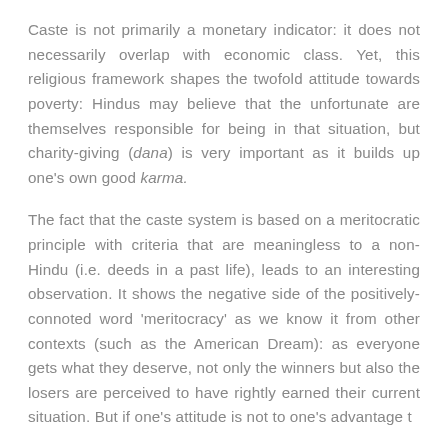Caste is not primarily a monetary indicator: it does not necessarily overlap with economic class. Yet, this religious framework shapes the twofold attitude towards poverty: Hindus may believe that the unfortunate are themselves responsible for being in that situation, but charity-giving (dana) is very important as it builds up one's own good karma.
The fact that the caste system is based on a meritocratic principle with criteria that are meaningless to a non-Hindu (i.e. deeds in a past life), leads to an interesting observation. It shows the negative side of the positively-connoted word 'meritocracy' as we know it from other contexts (such as the American Dream): as everyone gets what they deserve, not only the winners but also the losers are perceived to have rightly earned their current situation. But if one's attitude is not to one's advantage t...